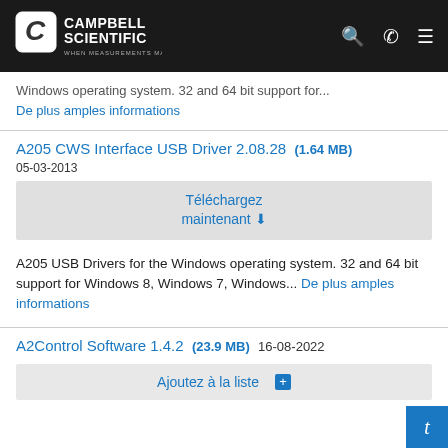Campbell Scientific - When Measurements Matter
Windows operating system. 32 and 64 bit support for...
De plus amples informations
A205 CWS Interface USB Driver 2.08.28 (1.64 MB) 05-03-2013
Téléchargez maintenant
A205 USB Drivers for the Windows operating system. 32 and 64 bit support for Windows 8, Windows 7, Windows... De plus amples informations
A2Control Software 1.4.2 (23.9 MB) 16-08-2022
Ajoutez à la liste